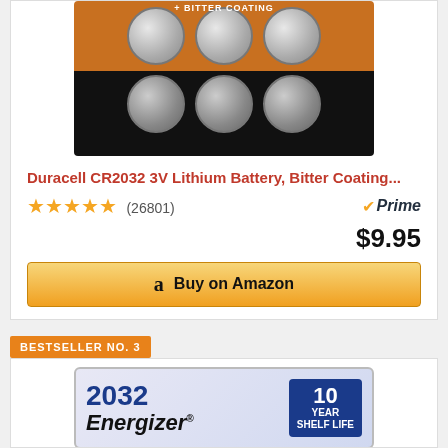[Figure (photo): Duracell CR2032 3V Lithium battery 6-pack product image showing coins batteries in orange and black packaging]
Duracell CR2032 3V Lithium Battery, Bitter Coating...
★★★★★ (26801) Prime $9.95
Buy on Amazon
BESTSELLER NO. 3
[Figure (photo): Energizer 2032 battery package with 10 Year Shelf Life badge]